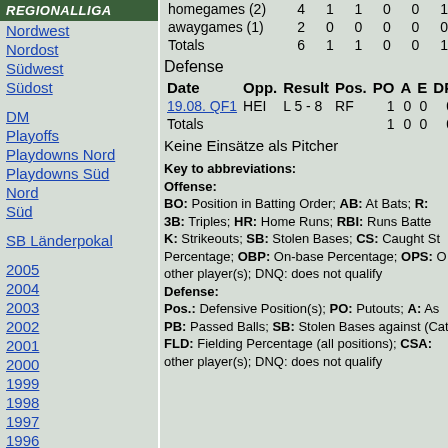REGIONALLIGA
Nordwest
Nordost
Südwest
Südost
DM
Playoffs
Playdowns Nord
Playdowns Süd
Nord
Süd
SB Länderpokal
2005
2004
2003
2002
2001
2000
1999
1998
1997
1996
|  | AB | R | 1B | 2B | 3B |
| --- | --- | --- | --- | --- | --- |
| homegames (2) | 4 | 1 | 1 | 0 | 0 | 1 |
| awaygames (1) | 2 | 0 | 0 | 0 | 0 | 0 |
| Totals | 6 | 1 | 1 | 0 | 0 | 1 |
Defense
| Date | Opp. | Result | Pos. | PO | A | E | DP | FLD |
| --- | --- | --- | --- | --- | --- | --- | --- | --- |
| 19.08. QF1 | HEI | L 5 - 8 | RF | 1 | 0 | 0 | 0 | 1.000 |
| Totals |  |  |  | 1 | 0 | 0 | 0 | 1.000 |
Keine Einsätze als Pitcher
Key to abbreviations: Offense: BO: Position in Batting Order; AB: At Bats; R: 3B: Triples; HR: Home Runs; RBI: Runs Batted K: Strikeouts; SB: Stolen Bases; CS: Caught St Percentage; OBP: On-base Percentage; OPS: O other player(s); DNQ: does not qualify Defense: Pos.: Defensive Position(s); PO: Putouts; A: As PB: Passed Balls; SB: Stolen Bases against (Cat FLD: Fielding Percentage (all positions); CSA: other player(s); DNQ: does not qualify